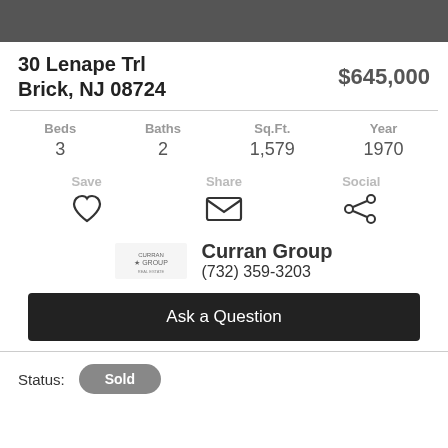30 Lenape Trl
Brick, NJ 08724
$645,000
| Beds | Baths | Sq.Ft. | Year |
| --- | --- | --- | --- |
| 3 | 2 | 1,579 | 1970 |
Save | Share | Social
Curran Group
(732) 359-3203
Ask a Question
Status: Sold